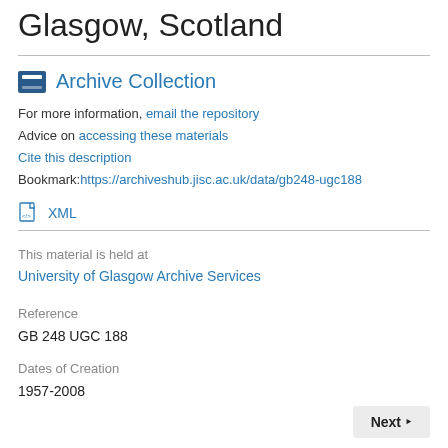Glasgow, Scotland
Archive Collection
For more information, email the repository
Advice on accessing these materials
Cite this description
Bookmark:https://archiveshub.jisc.ac.uk/data/gb248-ugc188
XML
This material is held at
University of Glasgow Archive Services
Reference
GB 248 UGC 188
Dates of Creation
1957-2008